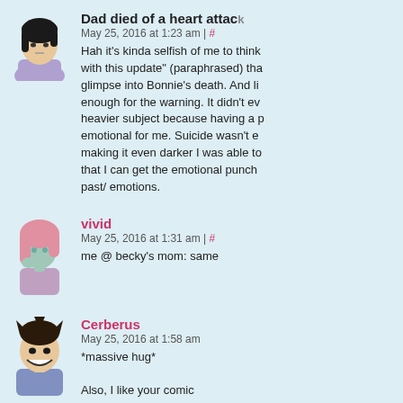Dad died of a heart attack
May 25, 2016 at 1:23 am | #
Hah it's kinda selfish of me to think with this update" (paraphrased) that glimpse into Bonnie's death. And li enough for the warning. It didn't ev heavier subject because having a p emotional for me. Suicide wasn't e making it even darker I was able to that I can get the emotional punch past/ emotions.
vivid
May 25, 2016 at 1:31 am | #
me @ becky's mom: same
Cerberus
May 25, 2016 at 1:58 am
*massive hug*
Also, I like your comic